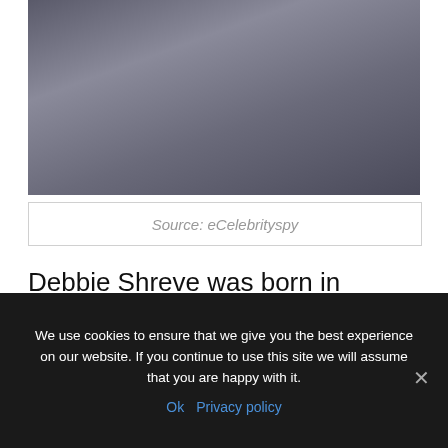[Figure (photo): Two people (a man and a woman) posing together at what appears to be an event. The man wears a necklace and dark jacket; the woman has blonde hair and wears a pearl necklace.]
Source: eCelebrityspy
Debbie Shreve was born in California on June 5, 1957. Debbie is a real estate consultant who has worked for RE/MAX Olson & Associates for over two decades. She graduated from Los Angeles Valley College. She is also renowned
We use cookies to ensure that we give you the best experience on our website. If you continue to use this site we will assume that you are happy with it.
Ok   Privacy policy